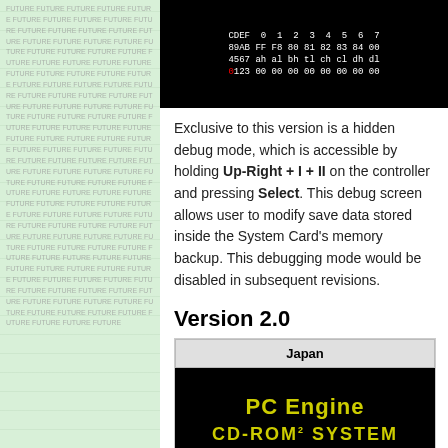[Figure (screenshot): Black background debug screen showing hex memory data in white text with red highlighted cell at 0 position]
Exclusive to this version is a hidden debug mode, which is accessible by holding Up-Right + I + II on the controller and pressing Select. This debug screen allows user to modify save data stored inside the System Card's memory backup. This debugging mode would be disabled in subsequent revisions.
Version 2.0
| Japan |
| --- |
[Figure (screenshot): Black background screen showing 'PC Engine' in yellow text and 'CD-ROM SYSTEM' in yellow text below]